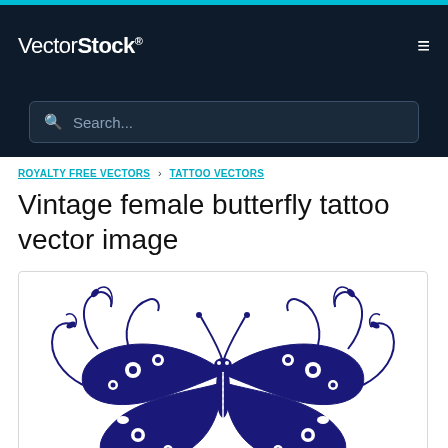VectorStock® [hamburger menu]
Search...
ROYALTY FREE VECTORS › TATTOO VECTORS
Vintage female butterfly tattoo vector image
[Figure (illustration): A detailed vintage-style butterfly tattoo vector illustration in dark navy/blue ink on white background. The butterfly is ornately decorated with floral and swirl patterns, forming a symmetrical mandala-like design.]